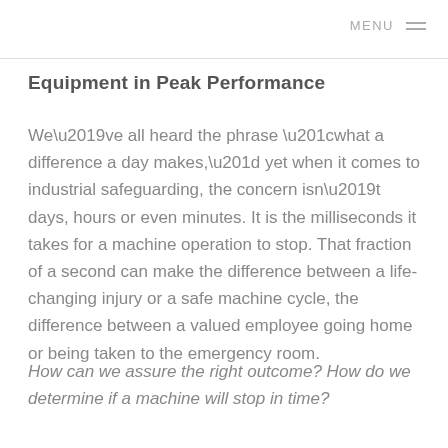MENU
Equipment in Peak Performance
We’ve all heard the phrase “what a difference a day makes,” yet when it comes to industrial safeguarding, the concern isn’t days, hours or even minutes. It is the milliseconds it takes for a machine operation to stop. That fraction of a second can make the difference between a life-changing injury or a safe machine cycle, the difference between a valued employee going home or being taken to the emergency room.
How can we assure the right outcome? How do we determine if a machine will stop in time?